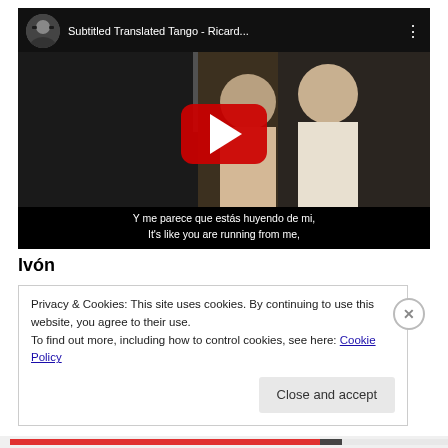[Figure (screenshot): YouTube video player showing 'Subtitled Translated Tango - Ricard...' with a black background, channel avatar, title bar, thumbnail of two men, red play button, and Spanish/English subtitle text at bottom.]
Ivón
Privacy & Cookies: This site uses cookies. By continuing to use this website, you agree to their use.
To find out more, including how to control cookies, see here: Cookie Policy